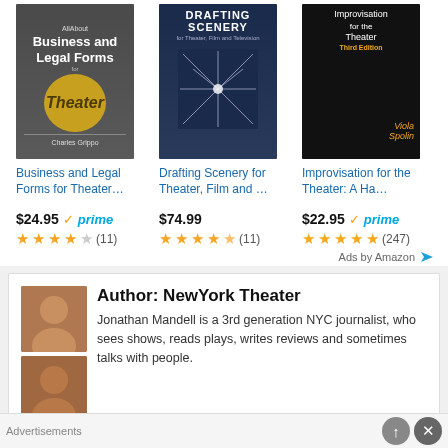[Figure (screenshot): Amazon ad showing three book covers: Business and Legal Forms for Theater, Drafting Scenery for Theater Film and ..., Improvisation for the Theater: A Ha...]
Business and Legal Forms for Theater…
$24.95 ✓prime (11)
Drafting Scenery for Theater, Film and …
$74.99 (11)
Improvisation for the Theater: A Ha…
$22.95 ✓prime (247)
Ads by Amazon
Author: NewYork Theater
Jonathan Mandell is a 3rd generation NYC journalist, who sees shows, reads plays, writes reviews and sometimes talks with people.
Advertisements